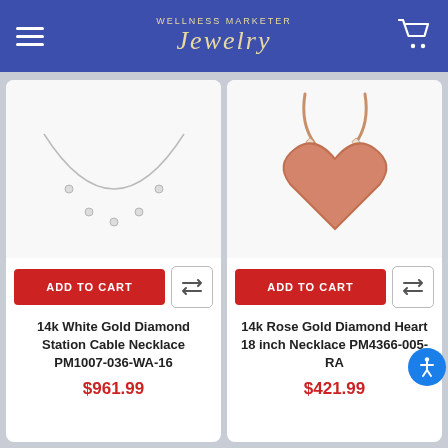WELLNESS MARKETER Jewelry
[Figure (photo): 14k White Gold Diamond Station Cable Necklace on white background]
ADD TO CART
14k White Gold Diamond Station Cable Necklace PM1007-036-WA-16
$961.99
[Figure (photo): 14k Rose Gold Diamond Heart 18 inch Necklace on white background]
ADD TO CART
14k Rose Gold Diamond Heart 18 inch Necklace PM4366-005-RA
$421.99